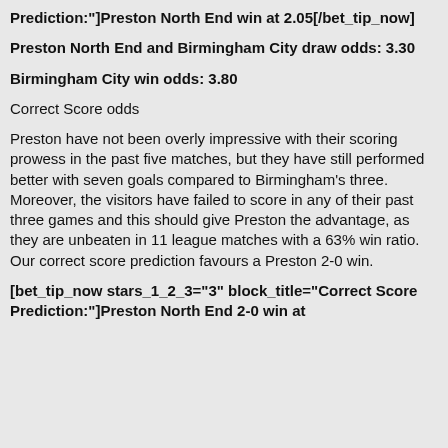Prediction:"]Preston North End win at 2.05[/bet_tip_now]
Preston North End and Birmingham City draw odds: 3.30
Birmingham City win odds: 3.80
Correct Score odds
Preston have not been overly impressive with their scoring prowess in the past five matches, but they have still performed better with seven goals compared to Birmingham's three. Moreover, the visitors have failed to score in any of their past three games and this should give Preston the advantage, as they are unbeaten in 11 league matches with a 63% win ratio. Our correct score prediction favours a Preston 2-0 win.
[bet_tip_now stars_1_2_3="3" block_title="Correct Score Prediction:"]Preston North End 2-0 win at